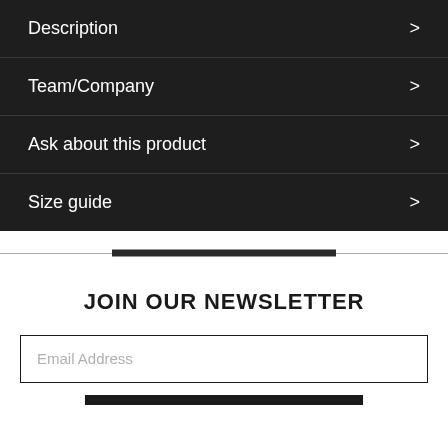Description
Team/Company
Ask about this product
Size guide
JOIN OUR NEWSLETTER
Email Address